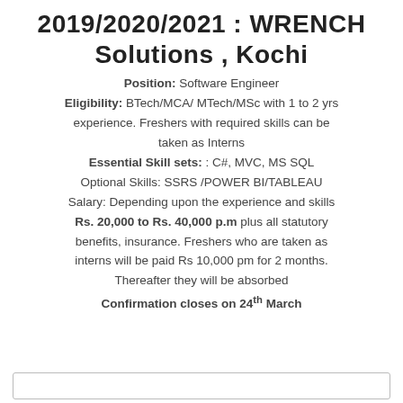2019/2020/2021 : WRENCH Solutions , Kochi
Position: Software Engineer
Eligibility: BTech/MCA/ MTech/MSc with 1 to 2 yrs experience. Freshers with required skills can be taken as Interns
Essential Skill sets: : C#, MVC, MS SQL
Optional Skills: SSRS /POWER BI/TABLEAU
Salary: Depending upon the experience and skills
Rs. 20,000 to Rs. 40,000 p.m plus all statutory benefits, insurance. Freshers who are taken as interns will be paid Rs 10,000 pm for 2 months. Thereafter they will be absorbed
Confirmation closes on 24th March